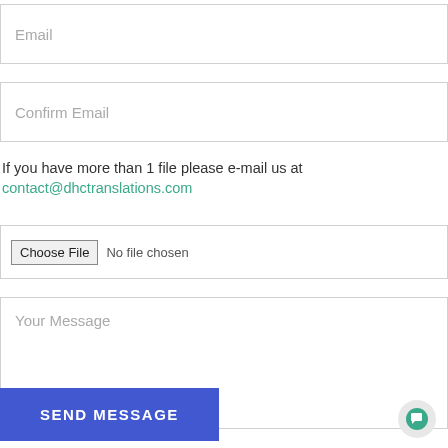Email
Confirm Email
If you have more than 1 file please e-mail us at contact@dhctranslations.com
Choose File  No file chosen
Your Message
SEND MESSAGE